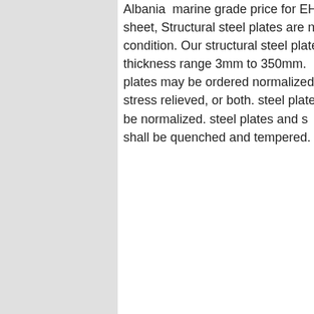Albania marine grade price for EH36 steel plate priceEH36 steel data sheet, Structural steel plates are normally supplied in the as-rolled condition. Our structural steel plate are supplied thickness range 3mm to 350mm. plates may be ordered normalized, stress relieved, or both. steel plates be normalized. steel plates and s shall be quenched and tempered.
[Figure (photo): 7X24 Online customer service advertisement banner with a woman wearing a headset smiling. Blue background with text 'Hello, may I help you?' and a yellow 'Get Latest Price' button.]
EH 36 Plate, EH 36 Pressure Vessel Plates Stockists
Rexton Steel Alloys offer grades that are certified by the ABS that represents the high strength EH36 plate. These plates are exclusively used for shipbuilding and can available in control-rolled as well as